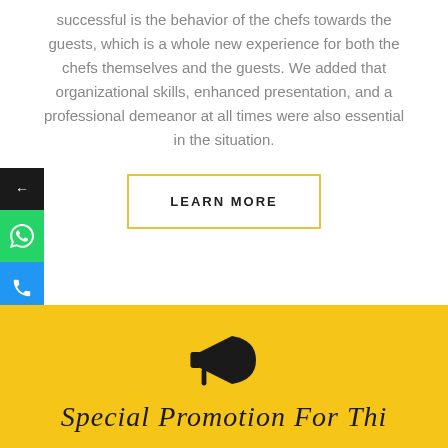successful is the behavior of the chefs towards the guests, which is a whole new experience for both the chefs themselves and the guests. We added that organizational skills, enhanced presentation, and a professional demeanor at all times were also essential in the situation.
[Figure (other): LEARN MORE button with yellow border]
[Figure (other): Side panel with three icons: back arrow (black), WhatsApp (green), phone (blue)]
[Figure (other): Megaphone/bullhorn icon on yellow background]
Special Promotion For Thi...